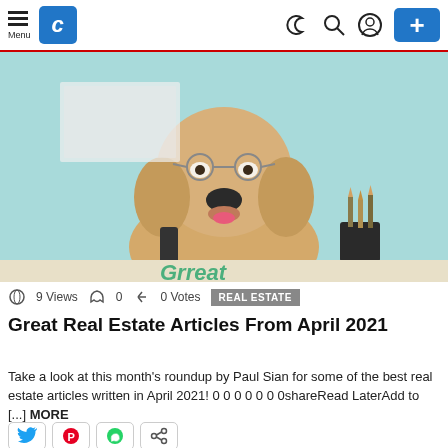Menu | C (logo) | (dark mode) (search) (user) | +
[Figure (photo): Golden retriever dog wearing glasses sitting at a desk with a pencil holder, in front of a light teal background. Text 'Grreat' visible at bottom of image.]
9 Views  0  0 Votes  REAL ESTATE
Great Real Estate Articles From April 2021
Take a look at this month's roundup by Paul Sian for some of the best real estate articles written in April 2021! 0 0 0 0 0 0 0shareRead LaterAdd to [...] MORE
[Figure (infographic): Four social share buttons: Twitter (bird), Pinterest (P), WhatsApp (phone), and share icon]